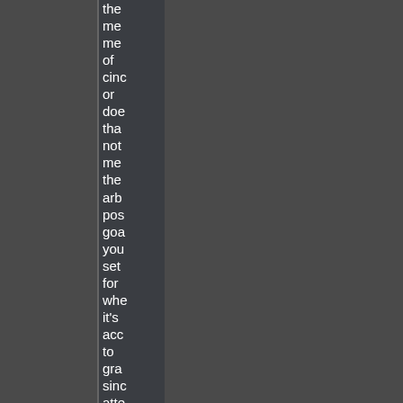the me me of cinc or doe tha not me the arb pos goa you set for whe it's acc to gra sinc atte to son exp so, how